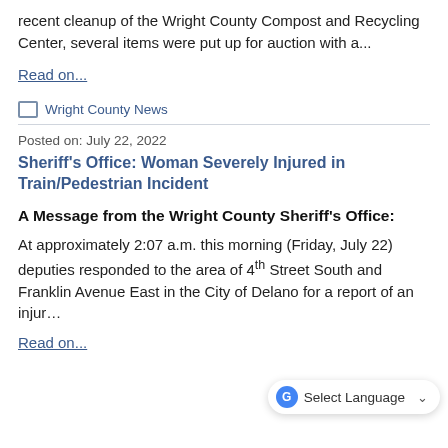recent cleanup of the Wright County Compost and Recycling Center, several items were put up for auction with a...
Read on...
Wright County News
Posted on: July 22, 2022
Sheriff's Office: Woman Severely Injured in Train/Pedestrian Incident
A Message from the Wright County Sheriff's Office:
At approximately 2:07 a.m. this morning (Friday, July 22) deputies responded to the area of 4th Street South and Franklin Avenue East in the City of Delano for a report of an injur…
Read on...